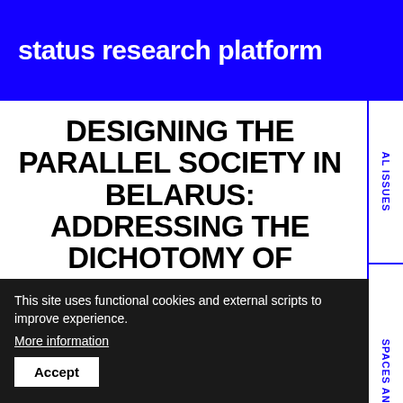status research platform
DESIGNING THE PARALLEL SOCIETY IN BELARUS: ADDRESSING THE DICHOTOMY OF STABILITY AND UNCERTAINTY
Elisabeth Kovtiak
1/24/2020
This site uses functional cookies and external scripts to improve experience.
More information
Accept
results of a STATUS workshop